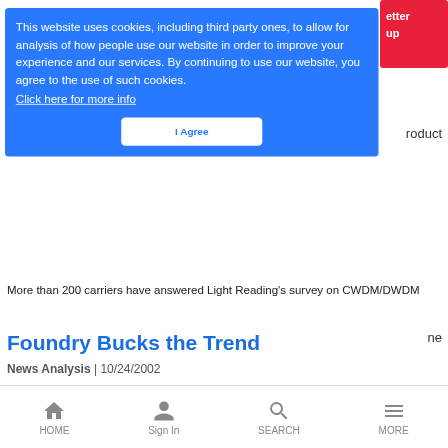[Figure (screenshot): Website cookie consent overlay on a blue background with text about cookie usage, a 'Click here for more info' link, and an 'I Agree' button. Behind the overlay are partial snippets of a news website with a red button partially visible at top right showing 'etter' and 'up', and text 'roduct' and 'ne'.]
More than 200 carriers have answered Light Reading's survey on CWDM/DWDM
Foundry Bucks the Trend
News Analysis | 10/24/2002
Foundry's new focus on enterprise switching pays dividends; stock pops after Q3 profits, improved fundamentals
HOME  Sign In  SEARCH  MORE